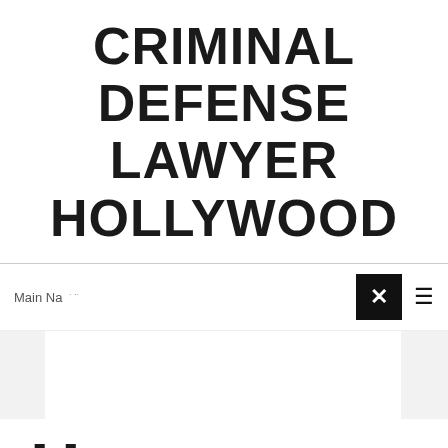CRIMINAL DEFENSE LAWYER HOLLYWOOD
Main Na  ·  ·
[Figure (screenshot): Navigation bar with close (X) button in black and hamburger menu icon]
H
In
G
Rec